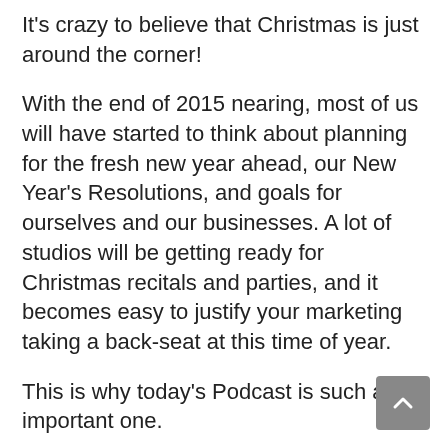It's crazy to believe that Christmas is just around the corner!
With the end of 2015 nearing, most of us will have started to think about planning for the fresh new year ahead, our New Year's Resolutions, and goals for ourselves and our businesses. A lot of studios will be getting ready for Christmas recitals and parties, and it becomes easy to justify your marketing taking a back-seat at this time of year.
This is why today's Podcast is such an important one.
I'm going to be talking with you about the opportunities you may be missing when you stop focusing on bringing in new students and marketing your studio during the holidays, and how to use this prime time to really assess and plan for the upcoming year at YOUR Dance Studio.